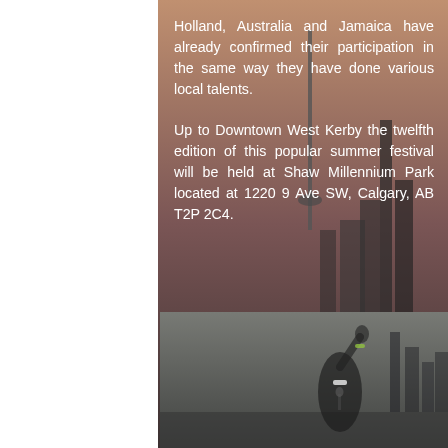Holland, Australia and Jamaica have already confirmed their participation in the same way they have done various local talents.

Up to Downtown West Kerby the twelfth edition of this popular summer festival will be held at Shaw Millennium Park located at 1220 9 Ave SW, Calgary, AB T2P 2C4.
[Figure (photo): A performer on stage raising their hand, wearing white sunglasses and a green wristband, photographed against a dusky sky with city skyline in the background.]